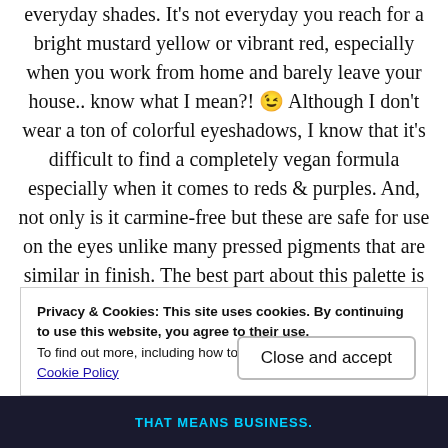everyday shades. It's not everyday you reach for a bright mustard yellow or vibrant red, especially when you work from home and barely leave your house.. know what I mean?! 😉 Although I don't wear a ton of colorful eyeshadows, I know that it's difficult to find a completely vegan formula especially when it comes to reds & purples. And, not only is it carmine-free but these are safe for use on the eyes unlike many pressed pigments that are similar in finish. The best part about this palette is that they're donating 20% of the retail price to Mercy for Animals, an international
Privacy & Cookies: This site uses cookies. By continuing to use this website, you agree to their use.
To find out more, including how to control cookies, see here:
Cookie Policy
Close and accept
THAT MEANS BUSINESS.